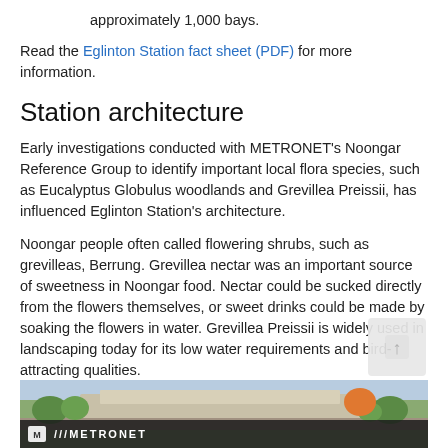approximately 1,000 bays.
Read the Eglinton Station fact sheet (PDF) for more information.
Station architecture
Early investigations conducted with METRONET's Noongar Reference Group to identify important local flora species, such as Eucalyptus Globulus woodlands and Grevillea Preissii, has influenced Eglinton Station's architecture.
Noongar people often called flowering shrubs, such as grevilleas, Berrung. Grevillea nectar was an important source of sweetness in Noongar food. Nectar could be sucked directly from the flowers themselves, or sweet drinks could be made by soaking the flowers in water. Grevillea Preissii is widely used in landscaping today for its low water requirements and bird-attracting qualities.
[Figure (photo): Aerial rendering of Eglinton Station with METRONET branding bar at bottom, showing station infrastructure surrounded by trees and roadways.]